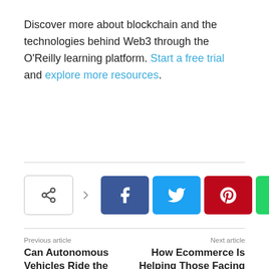Discover more about blockchain and the technologies behind Web3 through the O'Reilly learning platform. Start a free trial and explore more resources.
[Figure (infographic): Social share bar with share icon, arrow, and four colored social media buttons: Facebook (blue), Twitter (light blue), Pinterest (red), WhatsApp (green)]
Previous article
Can Autonomous Vehicles Ride the Electric Vehicles
Next article
How Ecommerce Is Helping Those Facing The Great